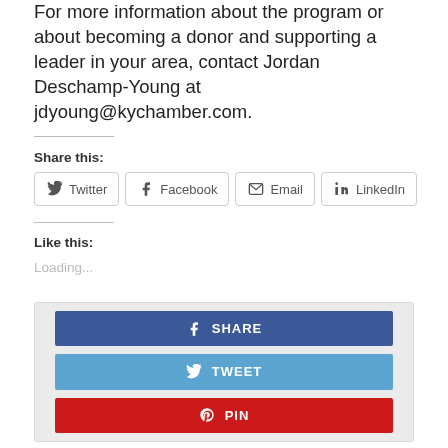For more information about the program or about becoming a donor and supporting a leader in your area, contact Jordan Deschamp-Young at jdyoung@kychamber.com.
Share this:
[Figure (infographic): Social share buttons: Twitter, Facebook, Email, LinkedIn]
Like this:
Loading...
[Figure (infographic): Social share buttons: SHARE (Facebook blue), TWEET (Twitter blue), PIN (Pinterest red)]